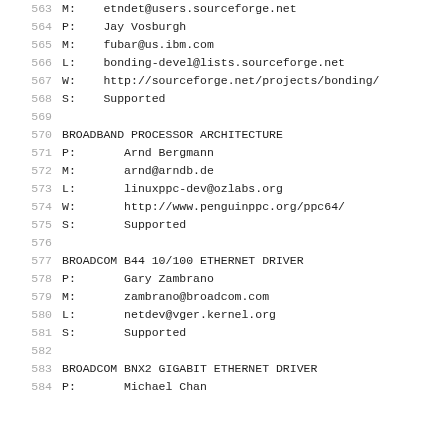563  M:    etndet@users.sourceforge.net
564  P:    Jay Vosburgh
565  M:    fubar@us.ibm.com
566  L:    bonding-devel@lists.sourceforge.net
567  W:    http://sourceforge.net/projects/bonding/
568  S:    Supported
569
570  BROADBAND PROCESSOR ARCHITECTURE
571  P:       Arnd Bergmann
572  M:       arnd@arndb.de
573  L:       linuxppc-dev@ozlabs.org
574  W:       http://www.penguinppc.org/ppc64/
575  S:       Supported
576
577  BROADCOM B44 10/100 ETHERNET DRIVER
578  P:       Gary Zambrano
579  M:       zambrano@broadcom.com
580  L:       netdev@vger.kernel.org
581  S:       Supported
582
583  BROADCOM BNX2 GIGABIT ETHERNET DRIVER
584  P:       Michael Chan